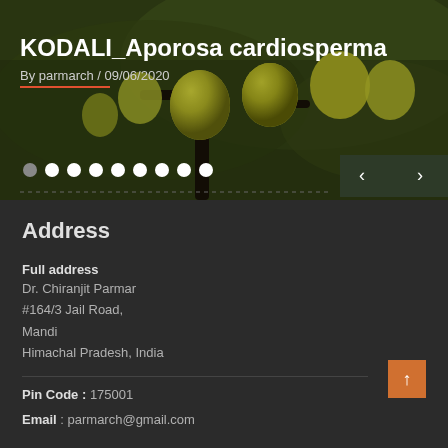[Figure (photo): Photo of Aporosa cardiosperma plant with yellow-green fruits on branches, used as banner image for the page]
KODALI_Aporosa cardiosperma
By parmarch / 09/06/2020
Address
Full address
Dr. Chiranjit Parmar
#164/3 Jail Road,
Mandi
Himachal Pradesh, India
Pin Code : 175001
Email : parmarch@gmail.com